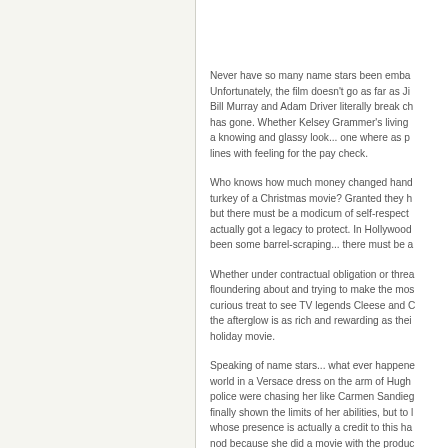Never have so many name stars been emba... Unfortunately, the film doesn't go as far as Ji... Bill Murray and Adam Driver literally break ch... has gone. Whether Kelsey Grammer's living ... a knowing and glassy look... one where as p... lines with feeling for the pay check.
Who knows how much money changed hand... turkey of a Christmas movie? Granted they h... but there must be a modicum of self-respect ... actually got a legacy to protect. In Hollywood... been some barrel-scraping... there must be a...
Whether under contractual obligation or threa... floundering about and trying to make the mos... curious treat to see TV legends Cleese and C... the afterglow is as rich and rewarding as thei... holiday movie.
Speaking of name stars... what ever happene... world in a Versace dress on the arm of Hugh... police were chasing her like Carmen Sandieg... finally shown the limits of her abilities, but to l... whose presence is actually a credit to this ha... nod because she did a movie with the produc... based on her involvement - even if the bigge...